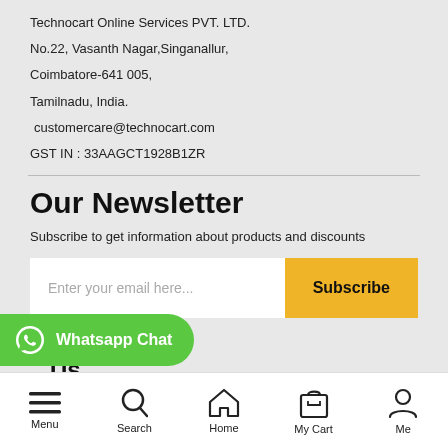Technocart Online Services PVT. LTD.
No.22, Vasanth Nagar,Singanallur,
Coimbatore-641 005,
Tamilnadu, India.
customercare@technocart.com
GST IN : 33AAGCT1928B1ZR
Our Newsletter
Subscribe to get information about products and discounts
Enter your email here...   Subscribe
[Figure (screenshot): Whatsapp Chat button (green pill-shaped)]
...Us
Menu | Search | Home | My Cart | Me